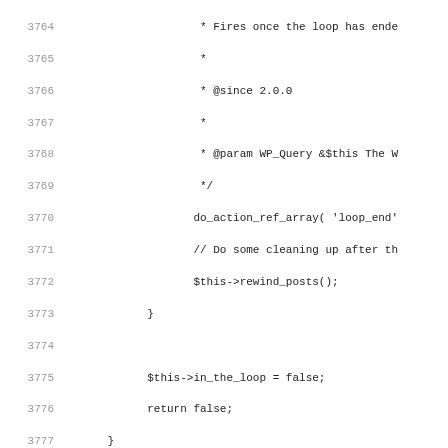Source code listing lines 3764-3795, showing PHP WordPress WP_Query class methods including the end of a loop construct and the rewind_posts() and next comment iteration methods.